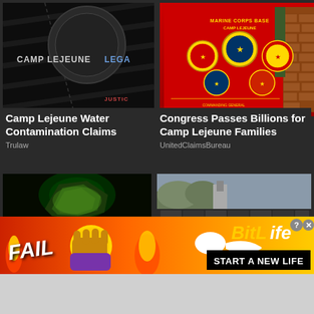[Figure (photo): Dark leather background with text 'CAMP LEJEUNE LEGAL' and 'JUSTIC' visible]
Camp Lejeune Water Contamination Claims
Trulaw
[Figure (photo): Red Marine Corps Base Camp Lejeune sign with military badges and brick wall]
Congress Passes Billions for Camp Lejeune Families
UnitedClaimsBureau
[Figure (photo): Dark background with 'CAMP LEJEUNE FREE CASE REVIEW' text in yellow]
[Figure (photo): Damaged roof with broken/missing shingles]
[Figure (photo): Advertisement banner: FAIL emoji character with BitLife START A NEW LIFE ad on fire background]